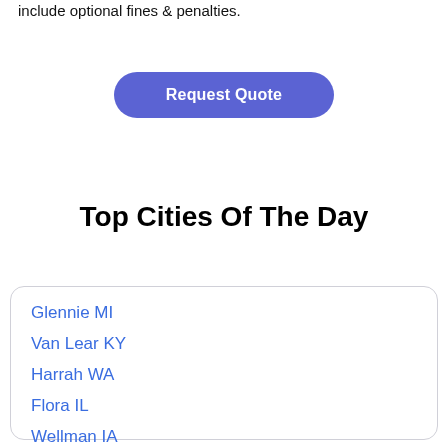include optional fines & penalties.
[Figure (other): Request Quote button - blue rounded pill button with white text]
Top Cities Of The Day
Glennie MI
Van Lear KY
Harrah WA
Flora IL
Wellman IA